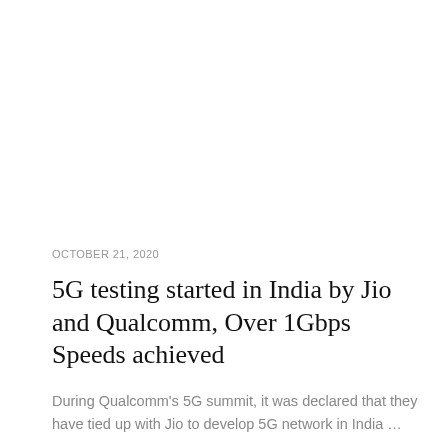OCTOBER 21, 2020
5G testing started in India by Jio and Qualcomm, Over 1Gbps Speeds achieved
During Qualcomm's 5G summit, it was declared that they have tied up with Jio to develop 5G network in India …
+ MORE